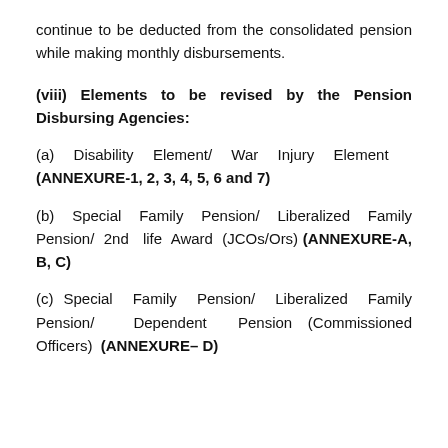continue to be deducted from the consolidated pension while making monthly disbursements.
(viii) Elements to be revised by the Pension Disbursing Agencies:
(a) Disability Element/ War Injury Element (ANNEXURE-1, 2, 3, 4, 5, 6 and 7)
(b) Special Family Pension/ Liberalized Family Pension/ 2nd life Award (JCOs/Ors) (ANNEXURE-A, B, C)
(c) Special Family Pension/ Liberalized Family Pension/ Dependent Pension (Commissioned Officers) (ANNEXURE- D)